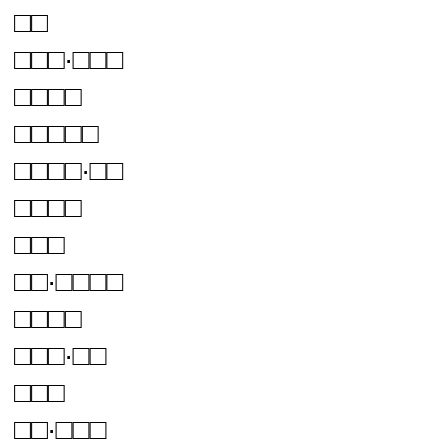□□
□□□·□□□
□□□□
□□□□□
□□□□·□□
□□□□
□□□
□□·□□□□
□□□□
□□□·□□
□□□
□□·□□□
□□
□□□□□
□□□·□
□□□
□□□
□□□□·□□□□